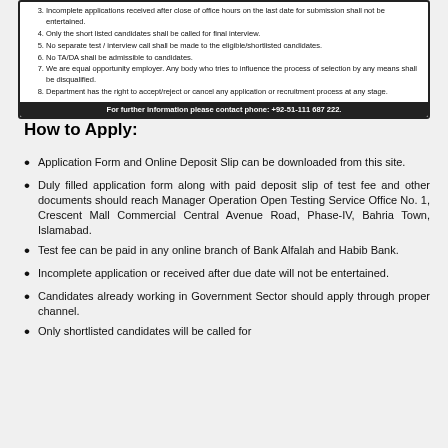Incomplete applications received after close of office hours on the last date for submission shall not be entertained.
Only the short listed candidates shall be called for final interview.
No separate test / interview call shall be made to the eligible/shortlisted candidates.
No TA/DA shall be admissible to candidates.
We are equal opportunity employer. Any body who tries to influence the process of selection by any means shall be disqualified.
Department has the right to accept/reject or cancel any application or recruitment process at any stage.
For further information please contact phone: +92-51-111 687 222.
How to Apply:
Application Form and Online Deposit Slip can be downloaded from this site.
Duly filled application form along with paid deposit slip of test fee and other documents should reach Manager Operation Open Testing Service Office No. 1, Crescent Mall Commercial Central Avenue Road, Phase-IV, Bahria Town, Islamabad.
Test fee can be paid in any online branch of Bank Alfalah and Habib Bank.
Incomplete application or received after due date will not be entertained.
Candidates already working in Government Sector should apply through proper channel.
Only shortlisted candidates will be called for